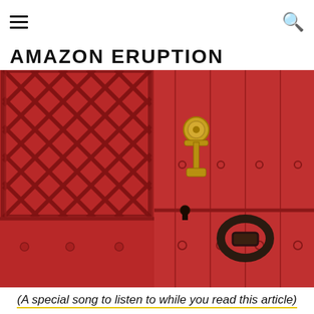≡  🔍
AMAZON ERUPTION
[Figure (photo): Close-up photograph of a red-painted wooden barn door with lattice window, brass knob/keyhole escutcheon, keyhole, and dark iron ring knocker. Vertical red wooden planks with rivets/bolts.]
(A special song to listen to while you read this article)